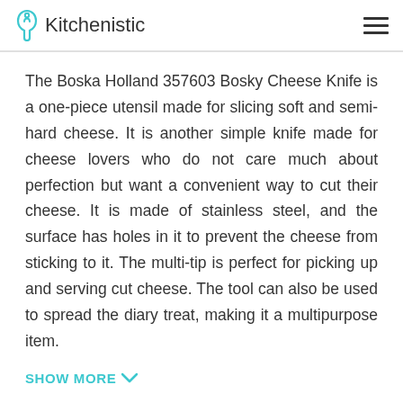Kitchenistic
The Boska Holland 357603 Bosky Cheese Knife is a one-piece utensil made for slicing soft and semi-hard cheese. It is another simple knife made for cheese lovers who do not care much about perfection but want a convenient way to cut their cheese. It is made of stainless steel, and the surface has holes in it to prevent the cheese from sticking to it. The multi-tip is perfect for picking up and serving cut cheese. The tool can also be used to spread the diary treat, making it a multipurpose item.
SHOW MORE